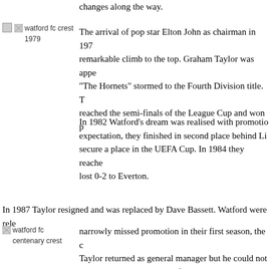changes along the way.
[Figure (illustration): watford fc crest 1979]
The arrival of pop star Elton John as chairman in 197... remarkable climb to the top. Graham Taylor was appe... "The Hornets" stormed to the Fourth Division title. T... reached the semi-finals of the League Cup and won p...
In 1982 Watford's dream was realised with promotio... expectation, they finished in second place behind Li... secure a place in the UEFA Cup. In 1984 they reache... lost 0-2 to Everton.
In 1987 Taylor resigned and was replaced by Dave Bassett. Watford were rele...
[Figure (illustration): watford fc centenary crest]
narrowly missed promotion in their first season, the c... Taylor returned as general manager but he could not... Nationwide Division Two (formerly the Third Divisi...
In 1998 they won the championship and a year later,... a place in the Premier League. This time they could n... were relegated the following season, seven points ad...
Watford made semi final appearances in the FA Cup c... while in the second flight before they unexpectedly b...
final to make another brief return to the Premiership. To mark the occasion, w...
anniversary, the club adopted a kit featuring red sho...